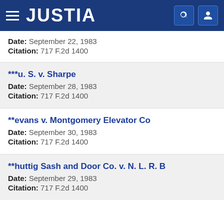JUSTIA
Date: September 22, 1983
Citation: 717 F.2d 1400
***u. S. v. Sharpe
Date: September 28, 1983
Citation: 717 F.2d 1400
**evans v. Montgomery Elevator Co
Date: September 30, 1983
Citation: 717 F.2d 1400
**huttig Sash and Door Co. v. N. L. R. B
Date: September 29, 1983
Citation: 717 F.2d 1400